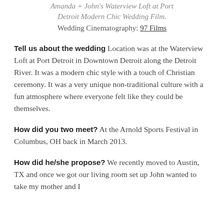Amanda + John's Waterview Loft at Port Detroit Modern Chic Wedding Film. Wedding Cinematography: 97 Films
Tell us about the wedding Location was at the Waterview Loft at Port Detroit in Downtown Detroit along the Detroit River. It was a modern chic style with a touch of Christian ceremony. It was a very unique non-traditional culture with a fun atmosphere where everyone felt like they could be themselves.
How did you two meet? At the Arnold Sports Festival in Columbus, OH back in March 2013.
How did he/she propose? We recently moved to Austin, TX and once we got our living room set up John wanted to take my mother and I